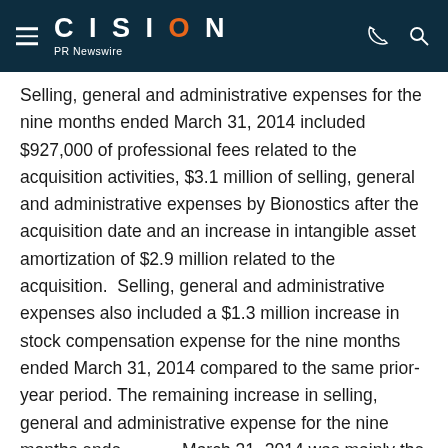CISION PR Newswire
Selling, general and administrative expenses for the nine months ended March 31, 2014 included $927,000 of professional fees related to the acquisition activities, $3.1 million of selling, general and administrative expenses by Bionostics after the acquisition date and an increase in intangible asset amortization of $2.9 million related to the acquisition.  Selling, general and administrative expenses also included a $1.3 million increase in stock compensation expense for the nine months ended March 31, 2014 compared to the same prior-year period. The remaining increase in selling, general and administrative expense for the nine months ended March 31, 2014 was mainly the result of an investment